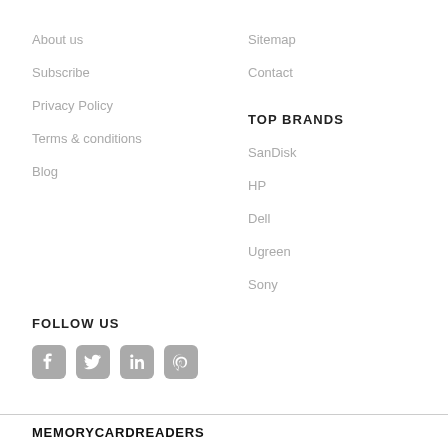About us
Subscribe
Privacy Policy
Terms & conditions
Blog
Sitemap
Contact
TOP BRANDS
SanDisk
HP
Dell
Ugreen
Sony
FOLLOW US
[Figure (other): Social media icons: Facebook, Twitter, LinkedIn, Pinterest]
MEMORYCARDREADERS